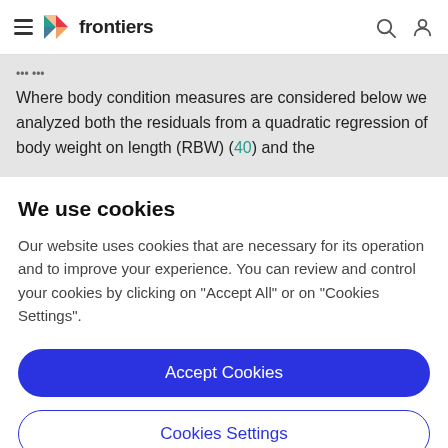frontiers
Where body condition measures are considered below we analyzed both the residuals from a quadratic regression of body weight on length (RBW) (40) and the
We use cookies
Our website uses cookies that are necessary for its operation and to improve your experience. You can review and control your cookies by clicking on "Accept All" or on "Cookies Settings".
Accept Cookies
Cookies Settings